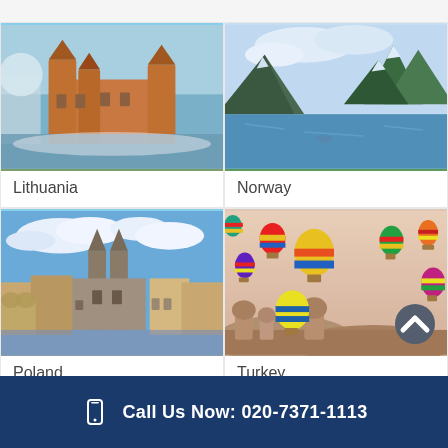[Figure (photo): Aerial view of Trakai Island Castle in Lithuania with red brick towers, snowy trees, and water surrounding it]
Lithuania
[Figure (photo): Norwegian fjord with calm blue water, steep green and grey mountains, and cloudy sky]
Norway
[Figure (photo): Krakow main market square with St Mary's Basilica twin towers, colorful historic buildings, and blue sky with clouds]
Poland
[Figure (photo): Cappadocia Turkey hot air balloons in various colors floating over rocky landscape and valleys at sunrise]
Turkey
Call Us Now: 020-7371-1113